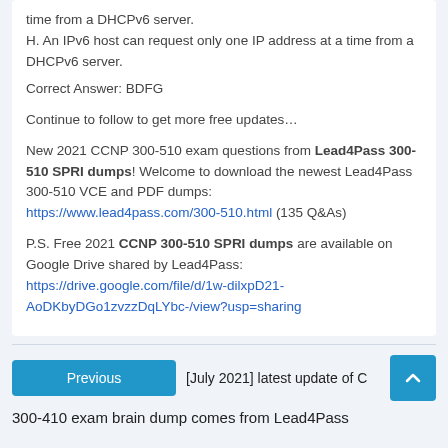time from a DHCPv6 server.
H. An IPv6 host can request only one IP address at a time from a DHCPv6 server.
Correct Answer: BDFG
Continue to follow to get more free updates…
New 2021 CCNP 300-510 exam questions from Lead4Pass 300-510 SPRI dumps! Welcome to download the newest Lead4Pass 300-510 VCE and PDF dumps: https://www.lead4pass.com/300-510.html (135 Q&As)
P.S. Free 2021 CCNP 300-510 SPRI dumps are available on Google Drive shared by Lead4Pass: https://drive.google.com/file/d/1w-dilxpD21-AoDKbyDGo1zvzzDqLYbc-/view?usp=sharing
Previous
[July 2021] latest update of C
300-410 exam brain dump comes from Lead4Pass